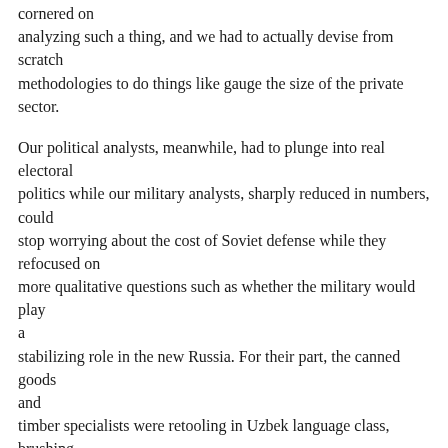cornered on analyzing such a thing, and we had to actually devise from scratch methodologies to do things like gauge the size of the private sector.
Our political analysts, meanwhile, had to plunge into real electoral politics while our military analysts, sharply reduced in numbers, could stop worrying about the cost of Soviet defense while they refocused on more qualitative questions such as whether the military would play a stabilizing role in the new Russia. For their part, the canned goods and timber specialists were retooling in Uzbek language class, brushing up on Ukrainian politics, or starting to focus in detail on places like Chechnya.
While we were wrestling with these challenges, outside the Intelligence Community, in the world of politics, the pundits and the press, there was expectant talk of a "Peace Dividend." The "End of History" had come ó the last, great ideological conflict was over. Skepticism was rife about the